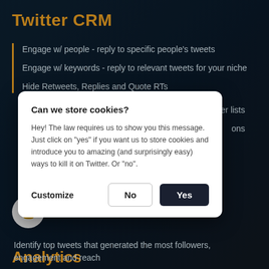Twitter CRM
Engage w/ people - reply to specific people's tweets
Engage w/ keywords - reply to relevant tweets for your niche
Hide Retweets, Replies and Quote RTs
[Figure (screenshot): Cookie consent modal dialog overlaying the page with title 'Can we store cookies?', body text, and Customize, No, Yes buttons]
Analytics
r key metrics
Identify top tweets that generated the most followers, engagement and reach